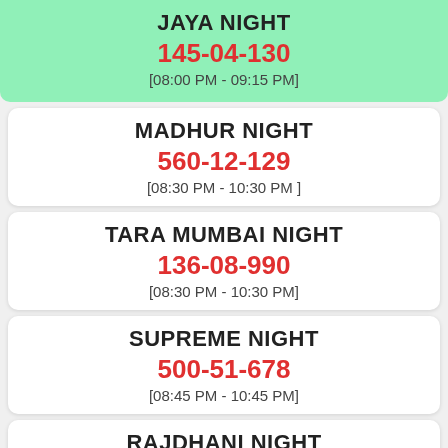JAYA NIGHT
145-04-130
[08:00 PM - 09:15 PM]
MADHUR NIGHT
560-12-129
[08:30 PM - 10:30 PM ]
TARA MUMBAI NIGHT
136-08-990
[08:30 PM - 10:30 PM]
SUPREME NIGHT
500-51-678
[08:45 PM - 10:45 PM]
RAJDHANI NIGHT